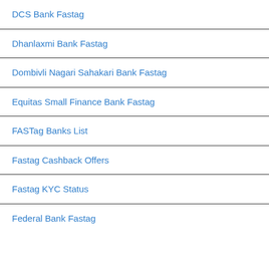DCS Bank Fastag
Dhanlaxmi Bank Fastag
Dombivli Nagari Sahakari Bank Fastag
Equitas Small Finance Bank Fastag
FASTag Banks List
Fastag Cashback Offers
Fastag KYC Status
Federal Bank Fastag